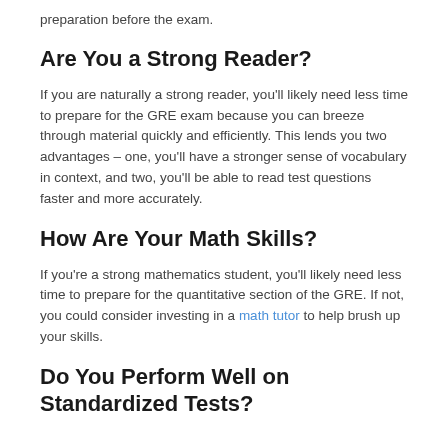preparation before the exam.
Are You a Strong Reader?
If you are naturally a strong reader, you'll likely need less time to prepare for the GRE exam because you can breeze through material quickly and efficiently. This lends you two advantages – one, you'll have a stronger sense of vocabulary in context, and two, you'll be able to read test questions faster and more accurately.
How Are Your Math Skills?
If you're a strong mathematics student, you'll likely need less time to prepare for the quantitative section of the GRE. If not, you could consider investing in a math tutor to help brush up your skills.
Do You Perform Well on Standardized Tests?